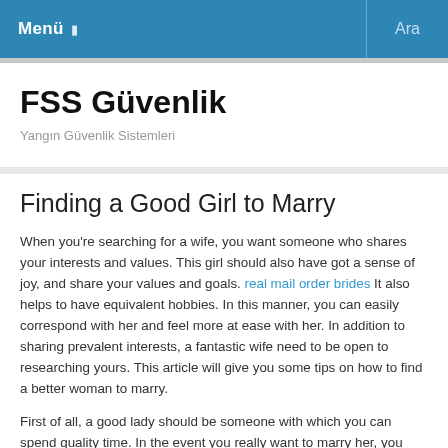Menü  Ara
FSS Güvenlik
Yangın Güvenlik Sistemleri
Finding a Good Girl to Marry
When you're searching for a wife, you want someone who shares your interests and values. This girl should also have got a sense of joy, and share your values and goals. real mail order brides It also helps to have equivalent hobbies. In this manner, you can easily correspond with her and feel more at ease with her. In addition to sharing prevalent interests, a fantastic wife need to be open to researching yours. This article will give you some tips on how to find a better woman to marry.
First of all, a good lady should be someone with which you can spend quality time. In the event you really want to marry her, you must find someone who shares your values, passions, and hobbies and interests. A good person will respect you and your family and should